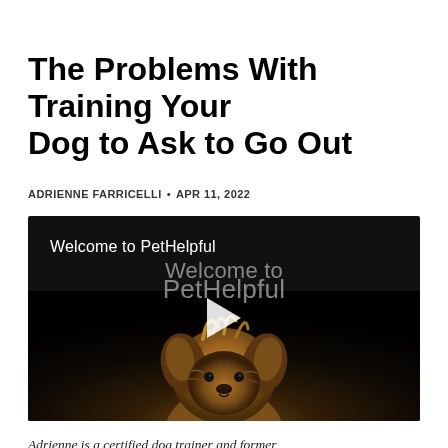The Problems With Training Your Dog to Ask to Go Out
ADRIENNE FARRICELLI • APR 11, 2022
[Figure (screenshot): Video player with dark background showing a small Yorkshire Terrier dog. Text reads 'Welcome to PetHelpful' overlaid twice (once smaller top-left, once larger centered). A white play button triangle is centered on the video.]
Adrienne is a certified dog trainer and former